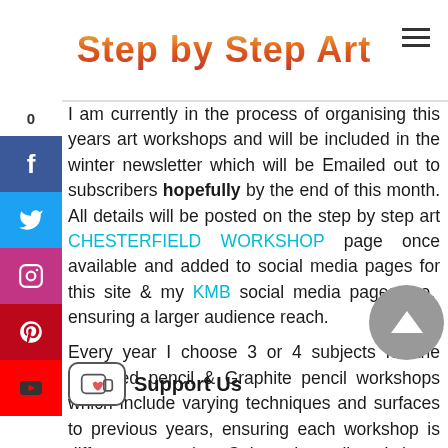Step by Step Art
I am currently in the process of organising this years art workshops and will be included in the winter newsletter which will be Emailed out to subscribers hopefully by the end of this month. All details will be posted on the step by step art CHESTERFIELD WORKSHOP page once available and added to social media pages for this site & my KMB social media pages too,  ensuring a larger audience reach.
Every year I choose 3 or 4 subjects for the Coloured pencil & Graphite pencil workshops which include varying techniques and surfaces to previous years, ensuring each workshop is different to another. Coloured pencil workshops using textured paper are complete beginner than the smooth paper, however every workshop available  can be attended by any artist